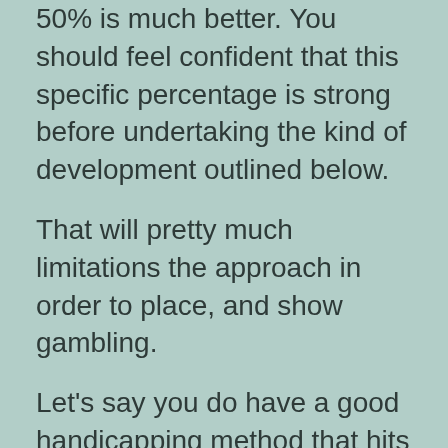50% is much better. You should feel confident that this specific percentage is strong before undertaking the kind of development outlined below.
That will pretty much limitations the approach in order to place, and show gambling.
Let’s say you do have a good handicapping method that hits 32% winners at a great average $7. 50 mutuel. You’re holding a fantastic ROI associated with around +21%.
That same horse bets could be expected to be